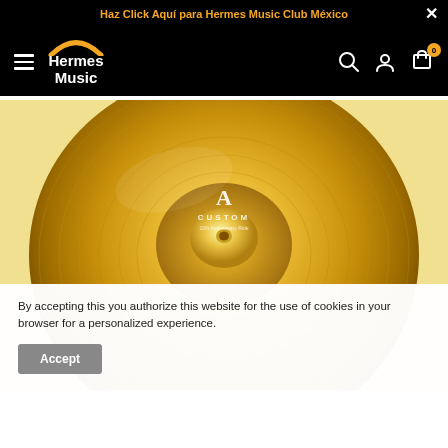Haz Click Aquí para Hermes Music Club México
[Figure (logo): Hermes Music logo with golden arc and white text on black background]
[Figure (photo): Golden Zildjian A Custom 10th Anniversary Ride cymbal, highly reflective, bronze finish]
By accepting this you authorize this website for the use of cookies in your browser for a personalized experience.
Accept